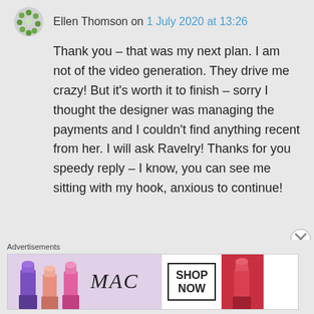Ellen Thomson on 1 July 2020 at 13:26
Thank you – that was my next plan. I am not of the video generation. They drive me crazy! But it's worth it to finish – sorry I thought the designer was managing the payments and I couldn't find anything recent from her. I will ask Ravelry! Thanks for you speedy reply – I know, you can see me sitting with my hook, anxious to continue!
Advertisements
[Figure (photo): MAC cosmetics advertisement banner showing lipsticks, MAC logo, and SHOP NOW button]